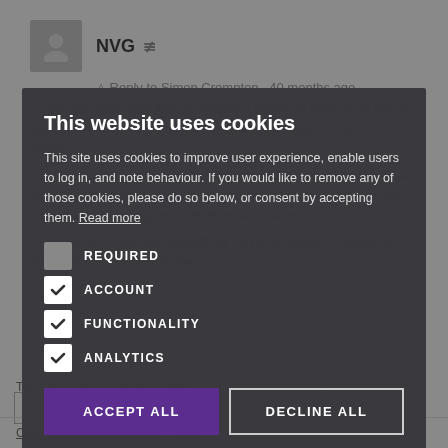[Figure (screenshot): Background of a website showing a user profile (NVG) with avatar, share icon, reply text to Simon Crompton, and partially visible article body text about chino twill fabric]
This website uses cookies
This site uses cookies to improve user experience, enable users to log in, and note behaviour. If you would like to remove any of those cookies, please do so below, or consent by accepting them. Read more
REQUIRED
ACCOUNT
FUNCTIONALITY
ANALYTICS
ACCEPT ALL
DECLINE ALL
Click here to read our Privacy Policy